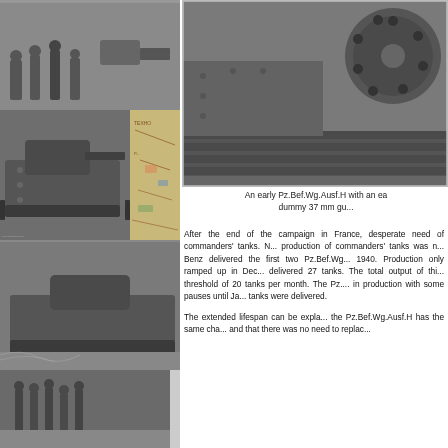[Figure (photo): Collage of black-and-white historical WWII photographs on left side: soldiers in action top, tank with gun barrel middle-left, map middle-right, large tank bottom-center, soldiers bottom-small]
[Figure (photo): Black-and-white photo of an early Pz.Bef.Wg.Ausf.H tank showing drive sprocket and track detail, top right]
An early Pz.Bef.Wg.Ausf.H with an early dummy 37 mm gu...
After the end of the campaign in France, desperate need of commanders' tanks. N... production of commanders' tanks was n... Benz delivered the first two Pz.Bef.Wg... 1940. Production only ramped up in Dec... delivered 27 tanks. The total output of thi... threshold of 20 tanks per month. The Pz.... in production with some pauses until Ja... tanks were delivered.
The extended lifespan can be expla... the Pz.Bef.Wg.Ausf.H has the same cha... and that there was no need to replac...